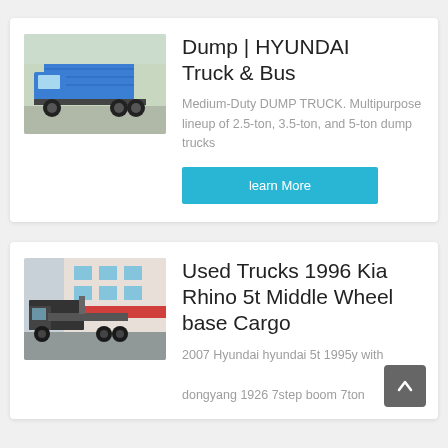[Figure (photo): Blue Hyundai dump truck parked outdoors, rear three-quarter view]
Dump | HYUNDAI Truck & Bus
Medium-Duty DUMP TRUCK. Multipurpose lineup of 2.5-ton, 3.5-ton, and 5-ton dump trucks
learn More
[Figure (photo): Used 1996 Kia Rhino 5t Middle Wheelbase Cargo truck parked in front of dealership building]
Used Trucks 1996 Kia Rhino 5t Middle Wheel base Cargo
2007 Hyundai hyundai 5t 1995y with dongyang 1926 7step boom 7ton